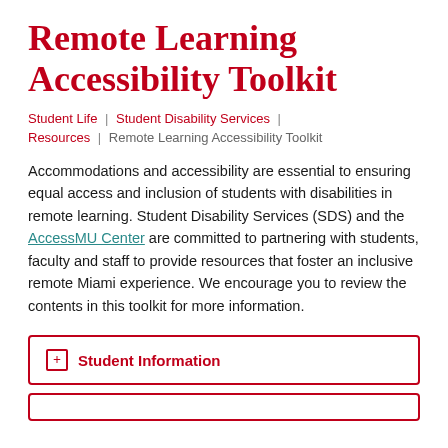Remote Learning Accessibility Toolkit
Student Life | Student Disability Services | Resources | Remote Learning Accessibility Toolkit
Accommodations and accessibility are essential to ensuring equal access and inclusion of students with disabilities in remote learning. Student Disability Services (SDS) and the AccessMU Center are committed to partnering with students, faculty and staff to provide resources that foster an inclusive remote Miami experience. We encourage you to review the contents in this toolkit for more information.
+ Student Information
+ [partial second accordion]